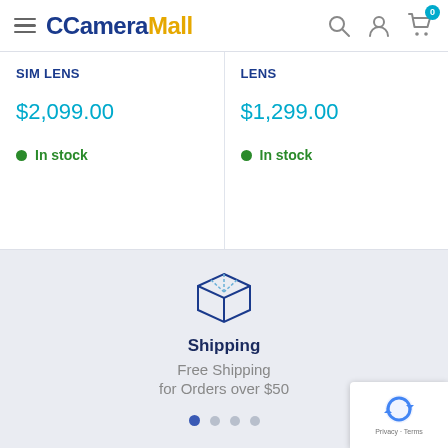CameraMall
SIM Lens — $2,099.00 — In stock
Lens — $1,299.00 — In stock
[Figure (illustration): Shipping box icon with dashed lines]
Shipping
Free Shipping
for Orders over $50
[Figure (other): reCAPTCHA badge — Privacy · Terms]